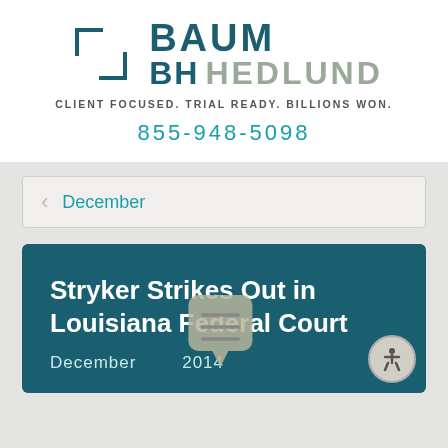[Figure (logo): Baum Hedlund law firm logo with bracket symbol, firm name in two lines, and tagline CLIENT FOCUSED. TRIAL READY. BILLIONS WON.]
855-948-5098
December
Stryker Strikes Out in Louisiana Federal Court
December 2014